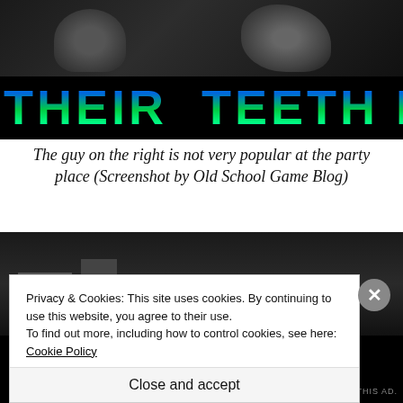[Figure (screenshot): Black and white photo of people at a party with a gradient blue-green game title text overlay reading "'O THEIR TEETH BU" (partial text)]
The guy on the right is not very popular at the party place (Screenshot by Old School Game Blog)
[Figure (screenshot): Black and white photo of a building exterior with trees, partially obscured by a cookie consent overlay]
Privacy & Cookies: This site uses cookies. By continuing to use this website, you agree to their use.
To find out more, including how to control cookies, see here: Cookie Policy
Close and accept